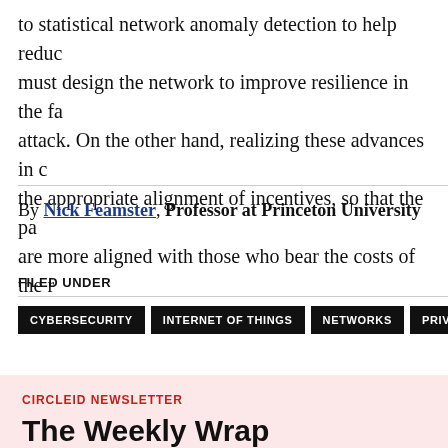to statistical network anomaly detection to help reduce must design the network to improve resilience in the face of attack. On the other hand, realizing these advances in capabilities the appropriate alignment of incentives, so that the parties are more aligned with those who bear the costs of the risks.
By Nick Feamster, Professor at Princeton University
FILED UNDER
CYBERSECURITY
INTERNET OF THINGS
NETWORKS
PRIVACY
CIRCLEID NEWSLETTER
The Weekly Wrap